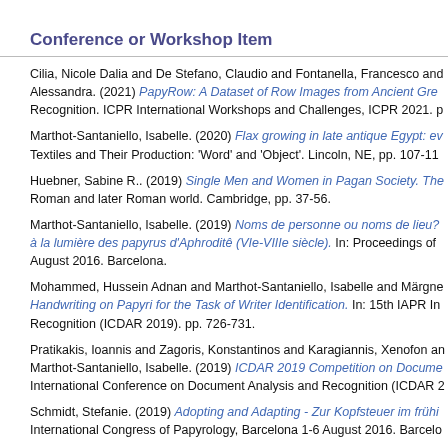Conference or Workshop Item
Cilia, Nicole Dalia and De Stefano, Claudio and Fontanella, Francesco and Alessandra. (2021) PapyRow: A Dataset of Row Images from Ancient Gre... Recognition. ICPR International Workshops and Challenges, ICPR 2021. p
Marthot-Santaniello, Isabelle. (2020) Flax growing in late antique Egypt: ev... Textiles and Their Production: 'Word' and 'Object'. Lincoln, NE, pp. 107-11
Huebner, Sabine R.. (2019) Single Men and Women in Pagan Society. The... Roman and later Roman world. Cambridge, pp. 37-56.
Marthot-Santaniello, Isabelle. (2019) Noms de personne ou noms de lieu? à la lumière des papyrus d'Aphroditê (VIe-VIIIe siècle). In: Proceedings of August 2016. Barcelona.
Mohammed, Hussein Adnan and Marthot-Santaniello, Isabelle and Märgne... Handwriting on Papyri for the Task of Writer Identification. In: 15th IAPR In... Recognition (ICDAR 2019). pp. 726-731.
Pratikakis, Ioannis and Zagoris, Konstantinos and Karagiannis, Xenofon an... Marthot-Santaniello, Isabelle. (2019) ICDAR 2019 Competition on Docume... International Conference on Document Analysis and Recognition (ICDAR 2...
Schmidt, Stefanie. (2019) Adopting and Adapting - Zur Kopfsteuer im frühi... International Congress of Papyrology, Barcelona 1-6 August 2016. Barcelo...
Huebner, Sabine R.. (2016) Die Königin der langen Straßen – Eine Rezep... imitanda. Mit der Vergangenheit die Gegenwart bewältigen? Festschrift für...